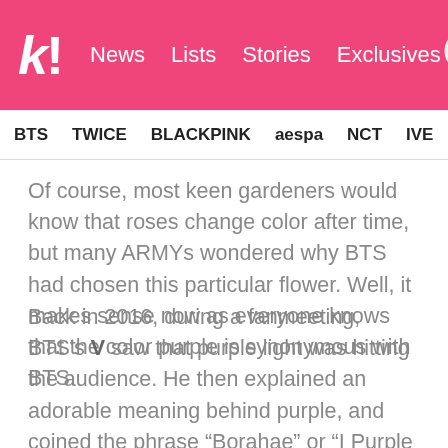k! News Lists Stories Exclusives
BTS TWICE BLACKPINK aespa NCT IVE SHIN
Of course, most keen gardeners would know that roses change color after time, but many ARMYs wondered why BTS had chosen this particular flower. Well, it makes sense now as everyone knows that the color purple is synonymous with BTS.
Back in 2016, during a fanmeeting, BTS's V saw that purple light was hitting the audience. He then explained an adorable meaning behind purple, and coined the phrase “Borahae” or “I Purple You” which is a way of showing love to ARMYs.